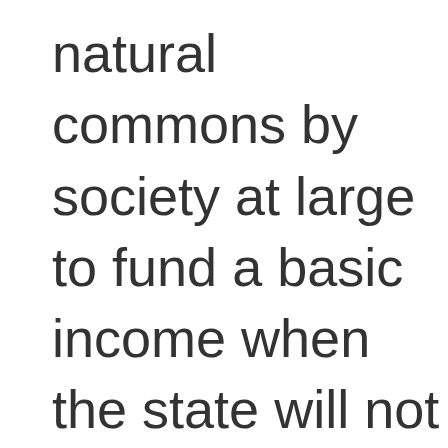natural commons by society at large to fund a basic income when the state will not undertake that duty on its own.